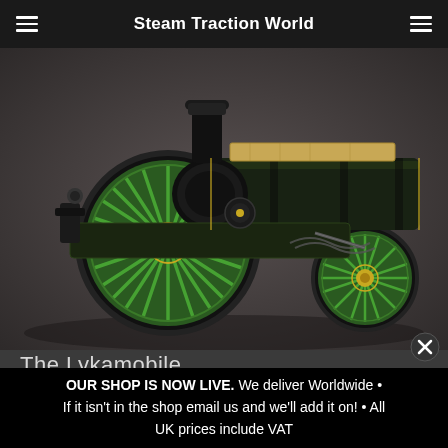Steam Traction World
[Figure (photo): A detailed model or illustration of a green steam traction engine (the Lykamobile) with large spoked wheels and a black boiler, shown against a dark background.]
The Lykamobile
[Figure (photo): Partial view of a dark tufted leather seat or cushion peaking from the bottom of the page.]
OUR SHOP IS NOW LIVE. We deliver Worldwide • If it isn't in the shop email us and we'll add it on! • All UK prices include VAT